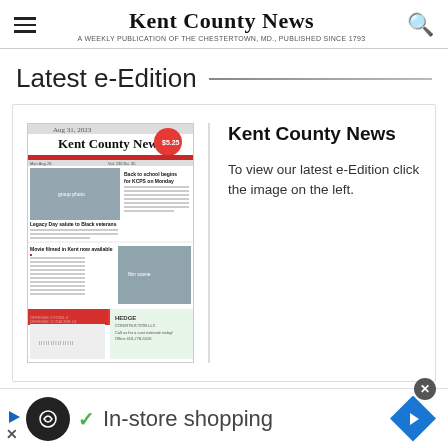Kent County News
Latest e-Edition
[Figure (screenshot): Thumbnail of Kent County News front page newspaper showing headlines: 'Back to school begins for KCPS on Monday', 'Legacy Day salute to Black veterans', 'Movie filmed in Kent now available', with price sticker $5.25]
Kent County News
To view our latest e-Edition click the image on the left.
In-store shopping